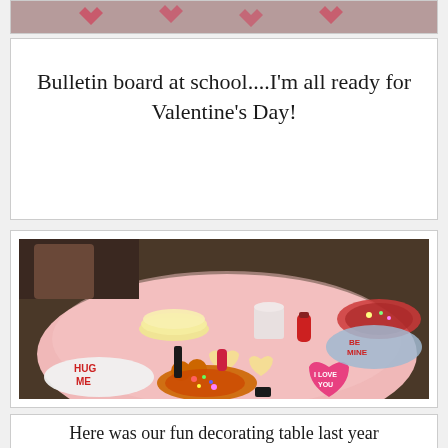[Figure (photo): Top portion of a Valentine's Day bulletin board photo at school, partially cropped — pink hearts visible against a classroom background.]
Bulletin board at school....I'm all ready for Valentine's Day!
[Figure (photo): A pink round table covered with Valentine's Day cookie decorating supplies: heart-shaped cookies, sprinkles, frosting, heart-shaped plates reading 'HUG ME' and 'I LOVE YOU'.]
Here was our fun decorating table last year